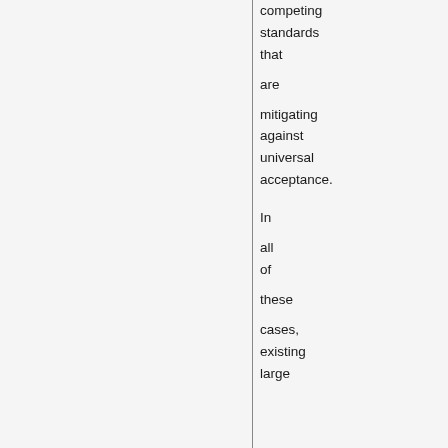competing standards that are mitigating against universal acceptance. In all of these cases, existing large